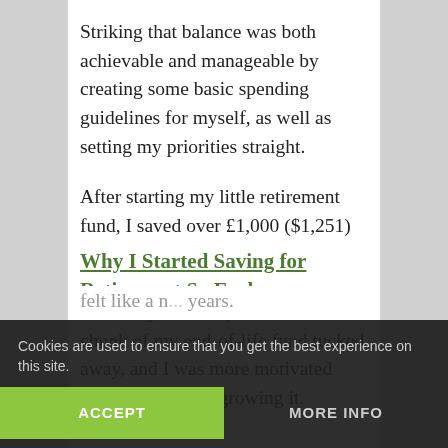Striking that balance was both achievable and manageable by creating some basic spending guidelines for myself, as well as setting my priorities straight.
After starting my little retirement fund, I saved over £1,000 ($1,251) dollars over the next couple of years. By the time I graduated from university, I already had a decent chunk of my end-of-life fund tucked away, and I was more motivated than ever to keep growing it.
Why I Started Saving for Retirement So Early
felt like a n... years.
Cookies are used to ensure that you get the best experience on this site.